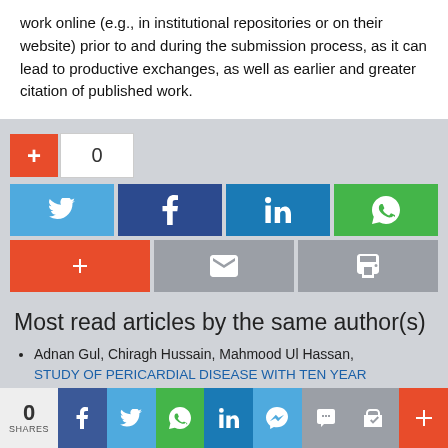work online (e.g., in institutional repositories or on their website) prior to and during the submission process, as it can lead to productive exchanges, as well as earlier and greater citation of published work.
[Figure (screenshot): Social share buttons: +0 counter, Twitter, Facebook, LinkedIn, WhatsApp, +, email, print buttons]
Most read articles by the same author(s)
Adnan Gul, Chiragh Hussain, Mahmood Ul Hassan, STUDY OF PERICARDIAL DISEASE WITH TEN YEAR FOLLOWUP IN A TERTIARY CARE HOSPITAL
[Figure (screenshot): Bottom sticky share bar with 0 shares count, Facebook, Twitter, WhatsApp, LinkedIn, Messenger, print, email, and + buttons]